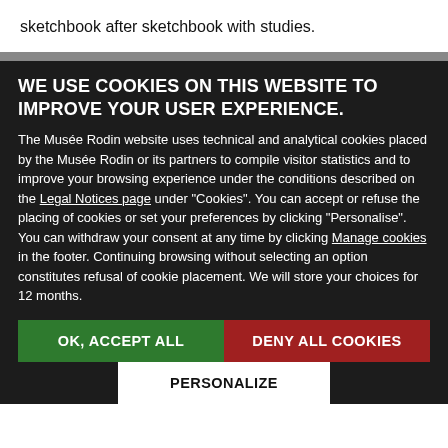sketchbook after sketchbook with studies.
WE USE COOKIES ON THIS WEBSITE TO IMPROVE YOUR USER EXPERIENCE.
The Musée Rodin website uses technical and analytical cookies placed by the Musée Rodin or its partners to compile visitor statistics and to improve your browsing experience under the conditions described on the Legal Notices page under "Cookies". You can accept or refuse the placing of cookies or set your preferences by clicking "Personalise". You can withdraw your consent at any time by clicking Manage cookies in the footer. Continuing browsing without selecting an option constitutes refusal of cookie placement. We will store your choices for 12 months.
OK, ACCEPT ALL
DENY ALL COOKIES
PERSONALIZE